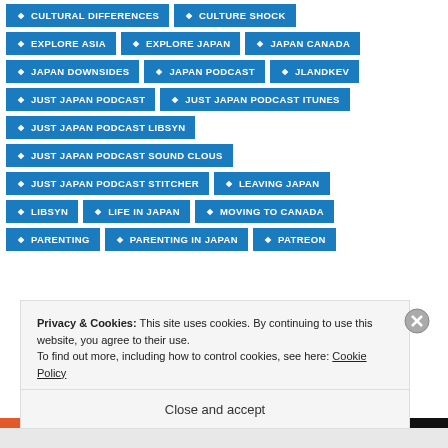CULTURAL DIFFERENCES
CULTURE SHOCK
EXPLORE ASIA
EXPLORE JAPAN
JAPAN CANADA
JAPAN DOWNSIDES
JAPAN PODCAST
JLANDKEV
JUST JAPAN PODCAST
JUST JAPAN PODCAST ITUNES
JUST JAPAN PODCAST LIBSYN
JUST JAPAN PODCAST SOUND CLOUS
JUST JAPAN PODCAST STITCHER
LEAVING JAPAN
LIBSYN
LIFE IN JAPAN
MOVING TO CANADA
PARENTING
PARENTING IN JAPAN
PATREON
Privacy & Cookies: This site uses cookies. By continuing to use this website, you agree to their use.
To find out more, including how to control cookies, see here: Cookie Policy
Close and accept